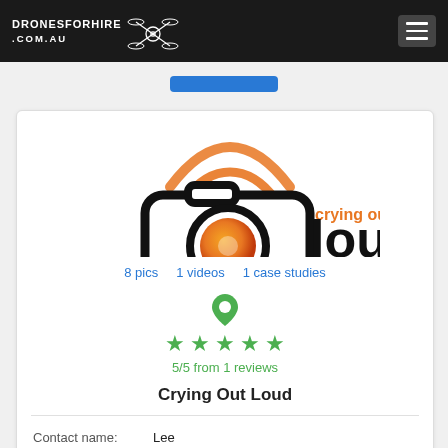DRONESFORHIRE.COM.AU
[Figure (logo): Crying Out Loud logo with camera and wifi signal icon, www.cryingoutloud.com.au]
8 pics   1 videos   1 case studies
[Figure (infographic): Green map pin icon above 5 green stars, 5/5 from 1 reviews rating]
Crying Out Loud
Contact name: Lee
Location/s: ARTARMON NSW, 2064